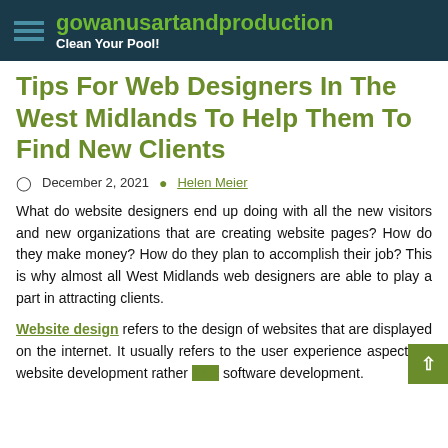gowanusartandproduction — Clean Your Pool!
Tips For Web Designers In The West Midlands To Help Them To Find New Clients
December 2, 2021  Helen Meier
What do website designers end up doing with all the new visitors and new organizations that are creating website pages? How do they make money? How do they plan to accomplish their job? This is why almost all West Midlands web designers are able to play a part in attracting clients.
Website design refers to the design of websites that are displayed on the internet. It usually refers to the user experience aspects of website development rather than software development.